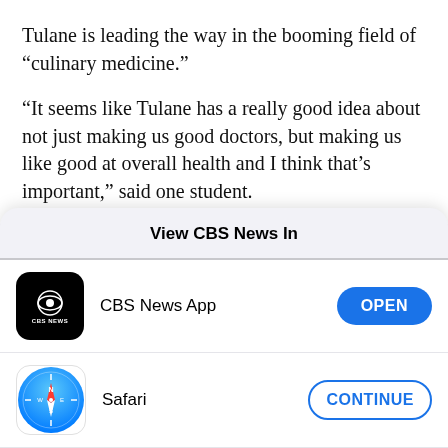Tulane is leading the way in the booming field of “culinary medicine.”
“It seems like Tulane has a really good idea about not just making us good doctors, but making us like good at overall health and I think that’s important,” said one student.
View CBS News In
[Figure (logo): CBS News App icon — black rounded square with CBS eye logo and 'CBS NEWS' text]
CBS News App
OPEN
[Figure (logo): Safari browser icon — blue gradient circle with compass needle]
Safari
CONTINUE